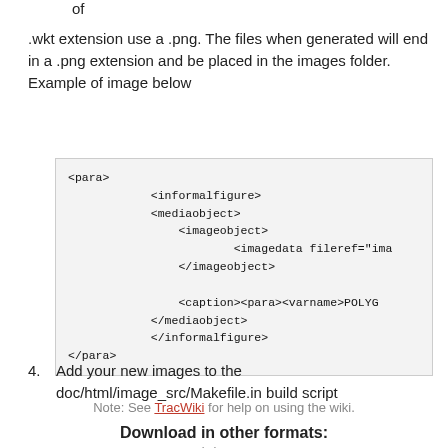of
.wkt extension use a .png. The files when generated will end in a .png extension and be placed in the images folder. Example of image below
[Figure (screenshot): Code block showing XML markup with para, informalfigure, mediaobject, imageobject, imagedata, caption elements]
4. Add your new images to the doc/html/image_src/Makefile.in build script
Note: See TracWiki for help on using the wiki.
Download in other formats:
Plain Text